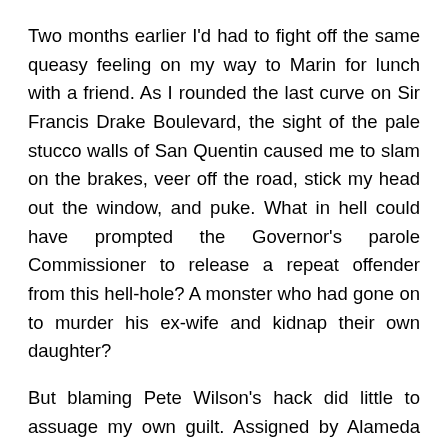Two months earlier I'd had to fight off the same queasy feeling on my way to Marin for lunch with a friend. As I rounded the last curve on Sir Francis Drake Boulevard, the sight of the pale stucco walls of San Quentin caused me to slam on the brakes, veer off the road, stick my head out the window, and puke. What in hell could have prompted the Governor's parole Commissioner to release a repeat offender from this hell-hole? A monster who had gone on to murder his ex-wife and kidnap their own daughter?
But blaming Pete Wilson's hack did little to assuage my own guilt. Assigned by Alameda County as Kassandra Jackson's attorney in a routine dependency hearing, I had offered a vehement and unfortunately convincing argument for returning her spunky eight-year-old daughter.